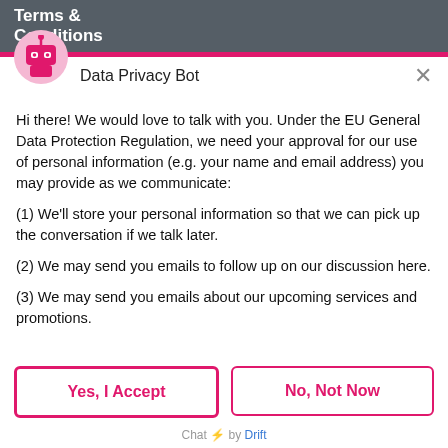Terms & Conditions
Data Privacy Bot
Hi there! We would love to talk with you. Under the EU General Data Protection Regulation, we need your approval for our use of personal information (e.g. your name and email address) you may provide as we communicate:
(1) We'll store your personal information so that we can pick up the conversation if we talk later.
(2) We may send you emails to follow up on our discussion here.
(3) We may send you emails about our upcoming services and promotions.
Yes, I Accept
No, Not Now
Chat ⚡ by Drift